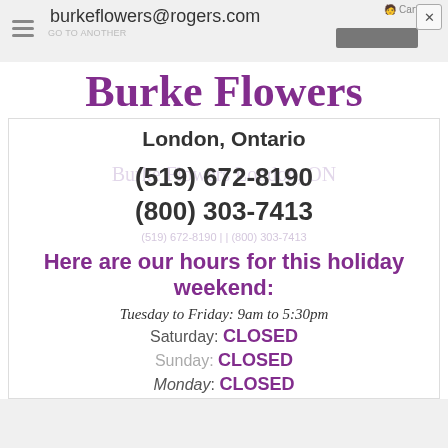burkeflowers@rogers.com
Burke Flowers
London, Ontario
(519) 672-8190
(800) 303-7413
Here are our hours for this holiday weekend:
Tuesday to Friday: 9am to 5:30pm
Saturday: CLOSED
Sunday: CLOSED
Monday: CLOSED